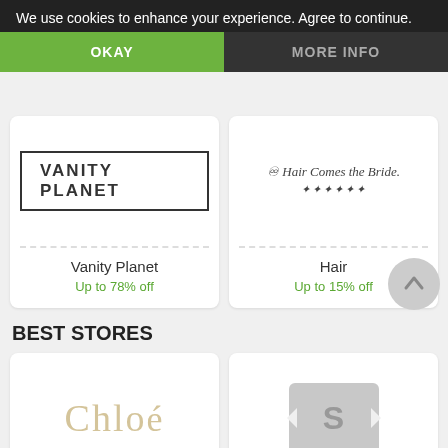We use cookies to enhance your experience. Agree to continue.
OKAY
MORE INFO
[Figure (logo): Vanity Planet logo — text in bordered rectangle]
Vanity Planet
Up to 78% off
[Figure (logo): Hair Comes the Bride script logo with floral decoration]
Hair
Up to 15% off
BEST STORES
[Figure (logo): Chloé brand logo in beige/tan serif font]
Chloé
Up to 20% off
[Figure (other): IObit placeholder image — gray ticket shape with S icon]
IObit
Up to 50% off